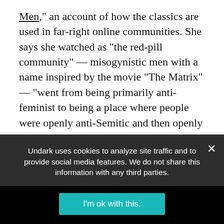Men," an account of how the classics are used in far-right online communities. She says she watched as "the red-pill community" — misogynistic men with a name inspired by the movie "The Matrix" — "went from being primarily anti-feminist to being a place where people were openly anti-Semitic and then openly white supremacist."
Zuckerberg conceived of Eidolon, which recently passed 1.5 million views, as a modern engagement with the classical world. It isn't peer-reviewed; a team of editors fact-check and consult with advisors if they feel they
Undark uses cookies to analyze site traffic and to provide social media features. We do not share this information with any third parties.
I'm ok with this.